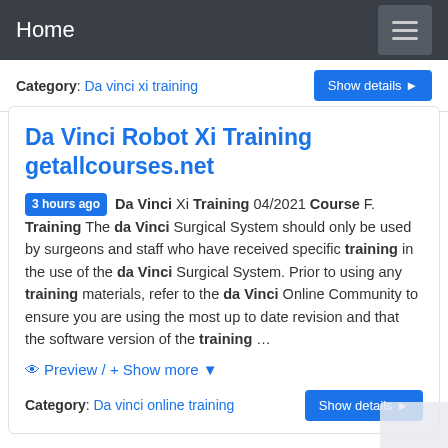Home
Category: Da vinci xi training
Da Vinci Robot Xi Training getallcourses.net
3 hours ago Da Vinci Xi Training 04/2021 Course F. Training The da Vinci Surgical System should only be used by surgeons and staff who have received specific training in the use of the da Vinci Surgical System. Prior to using any training materials, refer to the da Vinci Online Community to ensure you are using the most up to date revision and that the software version of the training …
Preview / + Show more
Category: Da vinci online training